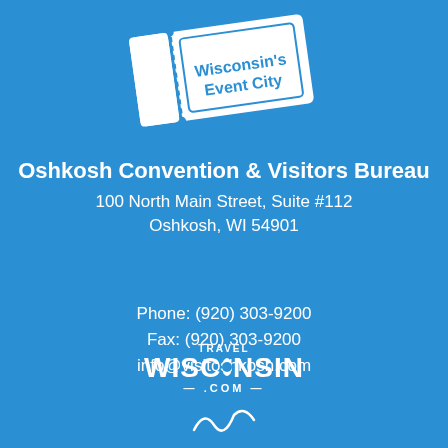[Figure (logo): Ticket-shaped logo with text 'Wisconsin's Event City' in white on blue background with ticket stub styling]
Oshkosh Convention & Visitors Bureau
100 North Main Street, Suite #112
Oshkosh, WI 54901
Phone: (920) 303-9200
Fax: (920) 303-9200
info@visitoshkosh.com
[Figure (logo): Travel Wisconsin .com logo in white]
[Figure (illustration): Partial illustration/signature at bottom of page]